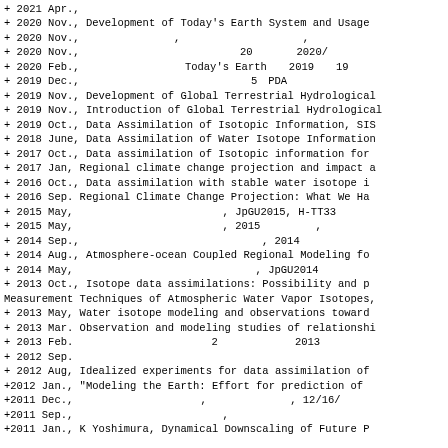+ 2021 Apr., ...
+ 2020 Nov., Development of Today's Earth System and Usage
+ 2020 Nov., [Japanese], [Japanese],
+ 2020 Nov., [Japanese] 20[Japanese] 2020/
+ 2020 Feb., [Japanese] Today's Earth[Japanese] 2019[Japanese] 19[Japanese]
+ 2019 Dec., [Japanese] 5[Japanese] PDA[Japanese]
+ 2019 Nov., Development of Global Terrestrial Hydrological
+ 2019 Nov., Introduction of Global Terrestrial Hydrological
+ 2019 Oct., Data Assimilation of Isotopic Information, SIS
+ 2018 June, Data Assimilation of Water Isotope Information
+ 2017 Oct., Data assimilation of Isotopic information for
+ 2017 Jan, Regional climate change projection and impact a
+ 2016 Oct., Data assimilation with stable water isotope i
+ 2016 Sep. Regional Climate Change Projection: What We Ha
+ 2015 May, [Japanese], JpGU2015, H-TT33 [Japanese]
+ 2015 May, [Japanese], 2015[Japanese],
+ 2014 Sep., [Japanese], 2014[Japanese]
+ 2014 Aug., Atmosphere-ocean Coupled Regional Modeling fo
+ 2014 May, [Japanese], JpGU2014
+ 2013 Oct., Isotope data assimilations: Possibility and p, Measurement Techniques of Atmospheric Water Vapor Isotopes,
+ 2013 May, Water isotope modeling and observations toward
+ 2013 Mar. Observation and modeling studies of relationshi
+ 2013 Feb. [Japanese] 2[Japanese] 2013[Japanese]
+ 2012 Sep. [Japanese]
+ 2012 Aug, Idealized experiments for data assimilation of
+2012 Jan., "Modeling the Earth: Effort for prediction of
+2011 Dec., [Japanese], [Japanese], 12/16/
+2011 Sep., [Japanese], [Japanese]
+2011 Jan., K Yoshimura, Dynamical Downscaling of Future P